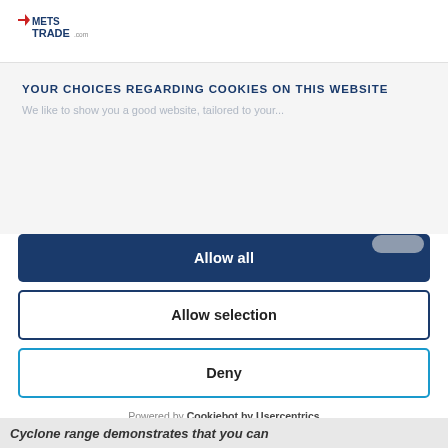[Figure (logo): METS TRADE .com logo with red arrow and blue/red text]
YOUR CHOICES REGARDING COOKIES ON THIS WEBSITE
We like to show you a good website, tailored to your...
Allow all
Allow selection
Deny
Powered by Cookiebot by Usercentrics
Cyclone range demonstrates that you can